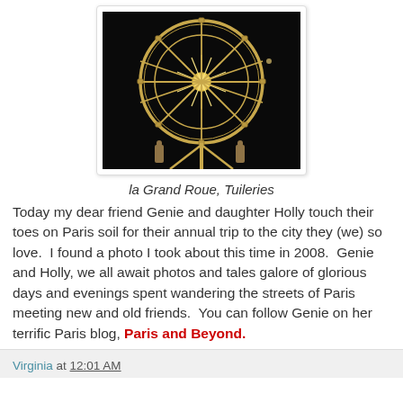[Figure (photo): Nighttime photo of a large illuminated Ferris wheel (la Grand Roue) at Tuileries, Paris, against a black sky with golden/white lights on the wheel structure.]
la Grand Roue, Tuileries
Today my dear friend Genie and daughter Holly touch their toes on Paris soil for their annual trip to the city they (we) so love.  I found a photo I took about this time in 2008.  Genie and Holly, we all await photos and tales galore of glorious days and evenings spent wandering the streets of Paris meeting new and old friends.  You can follow Genie on her terrific Paris blog, Paris and Beyond.
Virginia at 12:01 AM